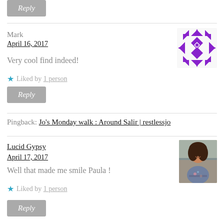Reply (button, top, cropped)
Mark
April 16, 2017
[Figure (illustration): Purple geometric quilt-like avatar pattern for user Mark]
Very cool find indeed!
Liked by 1 person
Reply
Pingback: Jo's Monday walk : Around Salir | restlessjo
Lucid Gypsy
April 17, 2017
[Figure (photo): Profile photo of Lucid Gypsy, a woman with curly dark hair, smiling, wearing a floral top, seated outdoors]
Well that made me smile Paula !
Liked by 1 person
Reply (button, bottom, cropped)